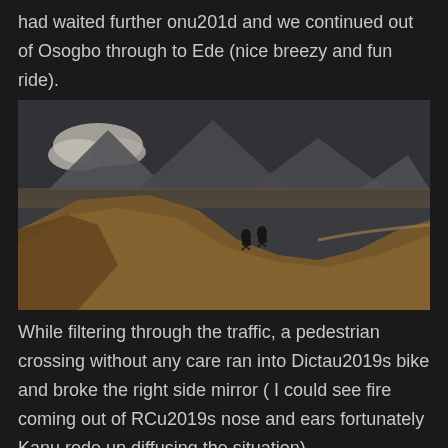had waited further onu201d and we continued out of Osogbo through to Ede (nice breezy and fun ride).
[Figure (photo): Two motorcyclists on a mountain dirt trail with rugged brown hills in the foreground and grey mountain peaks with clouds in the background, dark moody sky.]
While filtering through the traffic, a pedestrian crossing without any care ran into Dictau2019s bike and broke the right side mirror ( I could see fire coming out of RCu2019s nose and ears fortunately Kanu rode up diffusing the situation).